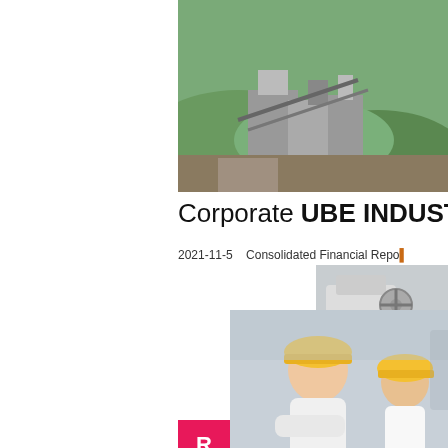[Figure (photo): Aerial view of an industrial mining or processing facility with buildings and green hills]
Corporate UBE INDUSTRIES,LTD.
2021-11-5    Consolidated Financial Repo...
[Figure (screenshot): Live Chat popup overlay with workers in yellow hard hats, text 'LIVE CHAT Click for a Free Consultation', Chat now and Chat later buttons]
[Figure (photo): Right sidebar with orange background showing industrial crushing machinery images, Enjoy 3% discount strip, Click to Chat button, Enquiry text, and limingjlmofen@sina.com email]
[Figure (photo): Mobile mining/crushing machine on truck, photographed from ground level]